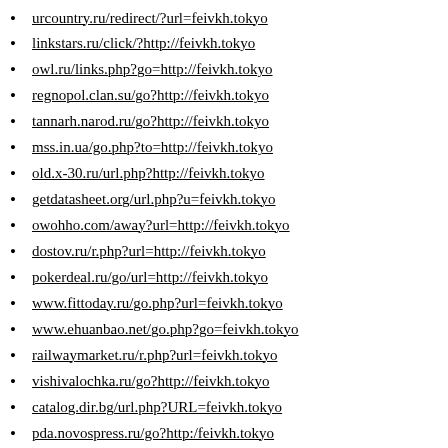urcountry.ru/redirect/?url=feivkh.tokyo
linkstars.ru/click/?http://feivkh.tokyo
owl.ru/links.php?go=http://feivkh.tokyo
regnopol.clan.su/go?http://feivkh.tokyo
tannarh.narod.ru/go?http://feivkh.tokyo
mss.in.ua/go.php?to=http://feivkh.tokyo
old.x-30.ru/url.php?http://feivkh.tokyo
getdatasheet.org/url.php?u=feivkh.tokyo
owohho.com/away?url=http://feivkh.tokyo
dostov.ru/r.php?url=http://feivkh.tokyo
pokerdeal.ru/go/url=http://feivkh.tokyo
www.fittoday.ru/go.php?url=feivkh.tokyo
www.ehuanbao.net/go.php?go=feivkh.tokyo
railwaymarket.ru/r.php?url=feivkh.tokyo
vishivalochka.ru/go?http://feivkh.tokyo
catalog.dir.bg/url.php?URL=feivkh.tokyo
pda.novospress.ru/go?http:/feivkh.tokyo
www.iomguide.com/redir.php/feivkh.tokyo
bel-kot.com/away?to=http://feivkh.tokyo